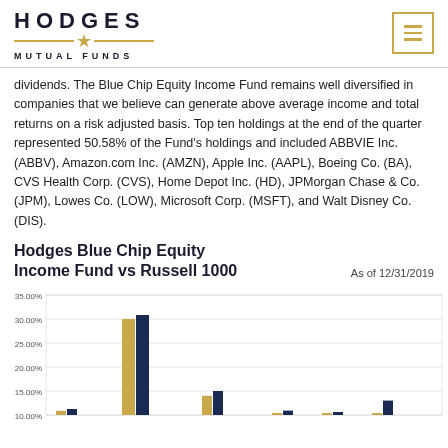HODGES MUTUAL FUNDS
dividends. The Blue Chip Equity Income Fund remains well diversified in companies that we believe can generate above average income and total returns on a risk adjusted basis. Top ten holdings at the end of the quarter represented 50.58% of the Fund's holdings and included ABBVIE Inc. (ABBV), Amazon.com Inc. (AMZN), Apple Inc. (AAPL), Boeing Co. (BA), CVS Health Corp. (CVS), Home Depot Inc. (HD), JPMorgan Chase & Co. (JPM), Lowes Co. (LOW), Microsoft Corp. (MSFT), and Walt Disney Co. (DIS).
Hodges Blue Chip Equity Income Fund vs Russell 1000    As of 12/31/2019
[Figure (grouped-bar-chart): Grouped bar chart showing Hodges Blue Chip Equity Income Fund (gold bars) vs Russell 1000 (dark blue bars) performance. Y-axis shows percentages from 10.00% to 35.00%. Bars visible at bottom of chart with values around 9%, 30%, 14%, 11%, 10%, 10%, 13%.]